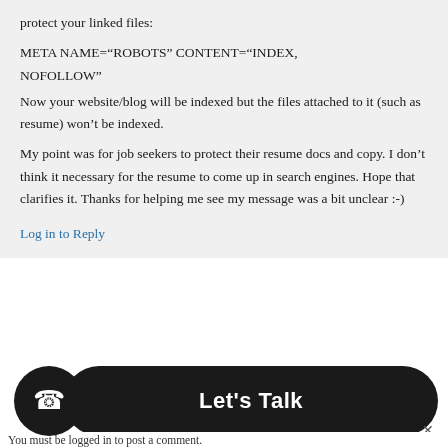protect your linked files:
META NAME="ROBOTS" CONTENT="INDEX, NOFOLLOW"
Now your website/blog will be indexed but the files attached to it (such as resume) won’t be indexed.
My point was for job seekers to protect their resume docs and copy. I don’t think it necessary for the resume to come up in search engines. Hope that clarifies it. Thanks for helping me see my message was a bit unclear :-)
Log in to Reply
Let's Talk
You must be logged in to post a comment.